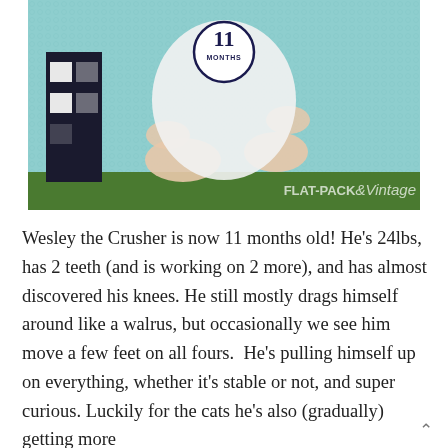[Figure (photo): Baby wearing a white onesie with '11 MONTHS' circle badge, sitting cross-legged on a teal crochet blanket with a dark building block pattern on the left and green grass strip at the bottom. Watermark reads 'FLAT-PACK&Vintage'.]
Wesley the Crusher is now 11 months old! He's 24lbs, has 2 teeth (and is working on 2 more), and has almost discovered his knees. He still mostly drags himself around like a walrus, but occasionally we see him move a few feet on all fours.  He's pulling himself up on everything, whether it's stable or not, and super curious. Luckily for the cats he's also (gradually) getting more